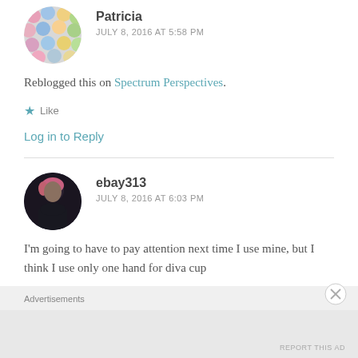[Figure (photo): Circular avatar image of Patricia, showing colorful round objects (macarons or pills) in pink, blue, yellow, green colors]
Patricia
JULY 8, 2016 AT 5:58 PM
Reblogged this on Spectrum Perspectives.
★ Like
Log in to Reply
[Figure (photo): Circular avatar image of ebay313, showing a person with red/pink hair wearing dark clothing, dark background]
ebay313
JULY 8, 2016 AT 6:03 PM
I'm going to have to pay attention next time I use mine, but I think I use only one hand for diva cup
Advertisements
REPORT THIS AD